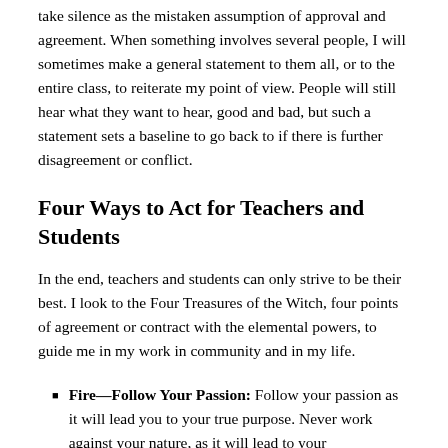take silence as the mistaken assumption of approval and agreement. When something involves several people, I will sometimes make a general statement to them all, or to the entire class, to reiterate my point of view. People will still hear what they want to hear, good and bad, but such a statement sets a baseline to go back to if there is further disagreement or conflict.
Four Ways to Act for Teachers and Students
In the end, teachers and students can only strive to be their best. I look to the Four Treasures of the Witch, four points of agreement or contract with the elemental powers, to guide me in my work in community and in my life.
Fire—Follow Your Passion: Follow your passion as it will lead you to your true purpose. Never work against your nature, as it will lead to your